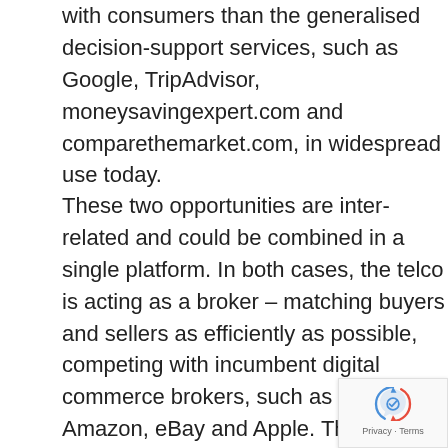with consumers than the generalised decision-support services, such as Google, TripAdvisor, moneysavingexpert.com and comparethemarket.com, in widespread use today.
These two opportunities are inter-related and could be combined in a single platform. In both cases, the telco is acting as a broker – matching buyers and sellers as efficiently as possible, competing with incumbent digital commerce brokers, such as Google, Amazon, eBay and Apple. The Strategy Report explains in detail how telcos could pursue these opportunities and potentially compete with the giant Internet players that dominate digital commerce toda